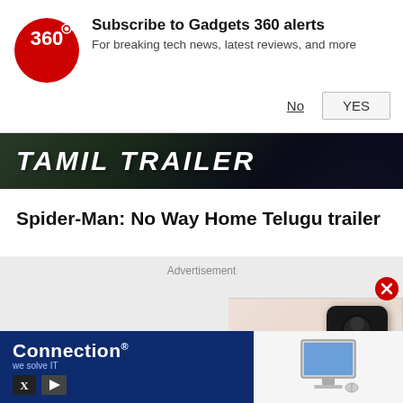[Figure (screenshot): Gadgets 360 notification subscription bar with red circular logo showing '360', bold title 'Subscribe to Gadgets 360 alerts', subtitle 'For breaking tech news, latest reviews, and more', with 'No' (underlined) and 'YES' (button) options]
[Figure (screenshot): Dark banner image with white bold italic text 'TAMIL TRAILER']
Spider-Man: No Way Home Telugu trailer
Advertisement
[Figure (screenshot): Advertisement section showing a smartphone product video thumbnail with a red play button, and a Connection IT company banner ad at the bottom]